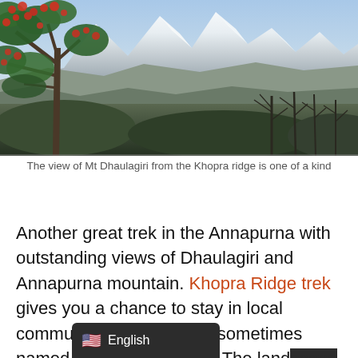[Figure (photo): View of Mt Dhaulagiri with snow-capped peaks in the background, a rhododendron tree with red berries on the left, and bare trees in the foreground, taken from Khopra ridge.]
The view of Mt Dhaulagiri from the Khopra ridge is one of a kind
Another great trek in the Annapurna with outstanding views of Dhaulagiri and Annapurna mountain. Khopra Ridge trek gives you a chance to stay in local community lodges so it is sometimes named a sustainable trek. The land[scape and c]ulture are quite similar to Poon